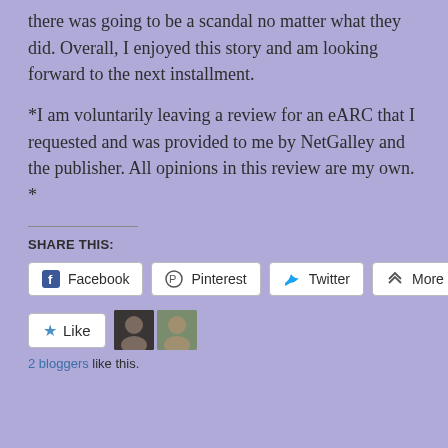there was going to be a scandal no matter what they did. Overall, I enjoyed this story and am looking forward to the next installment.
*I am voluntarily leaving a review for an eARC that I requested and was provided to me by NetGalley and the publisher. All opinions in this review are my own. *
SHARE THIS:
Facebook  Pinterest  Twitter  More
Like  2 bloggers like this.